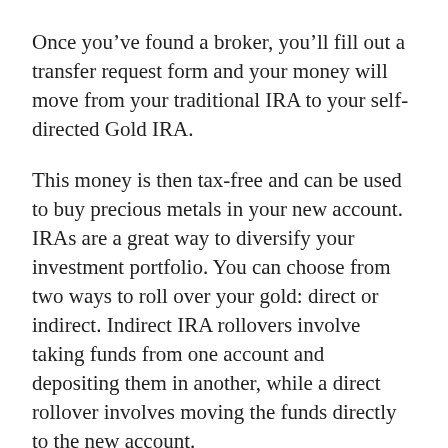Once you've found a broker, you'll fill out a transfer request form and your money will move from your traditional IRA to your self-directed Gold IRA.
This money is then tax-free and can be used to buy precious metals in your new account. IRAs are a great way to diversify your investment portfolio. You can choose from two ways to roll over your gold: direct or indirect. Indirect IRA rollovers involve taking funds from one account and depositing them in another, while a direct rollover involves moving the funds directly to the new account.
The latter method is simpler and less likely to have any issues with IRS penalties, but you may have to pay a few extra fees. Once you've established your gold IRA, you'll need to get your money from your custodian. You have 60 days to invest in the gold IRA of your choice. You can